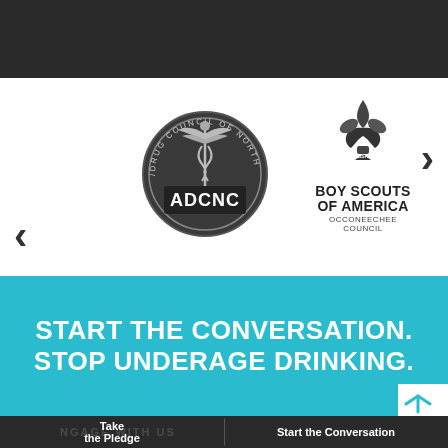PARTNERS
[Figure (logo): ADCNC — Alcohol/Drug Council of North Carolina circular seal logo with caduceus symbol]
[Figure (logo): Boy Scouts of America Occoneechee Council logo with fleur-de-lis emblem]
START THE CONVERSATION. STOP UNDERAGE DRINKING.
Take the Pledge | Start the Conversation